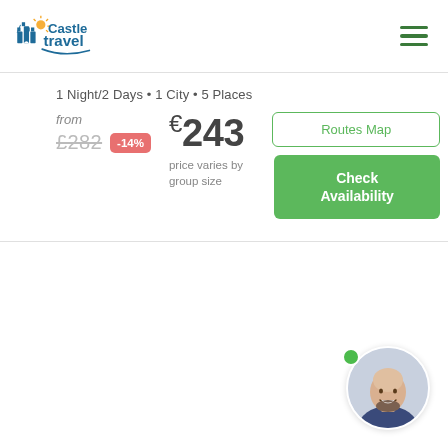[Figure (logo): Castle Travel logo with castle icon and sunburst, blue and orange colors]
1 Night/2 Days • 1 City • 5 Places
from £282 -14% €243 price varies by group size
Routes Map
Check Availability
[Figure (photo): Circular avatar photo of a smiling bald man with a beard wearing a suit, with a green online indicator dot]